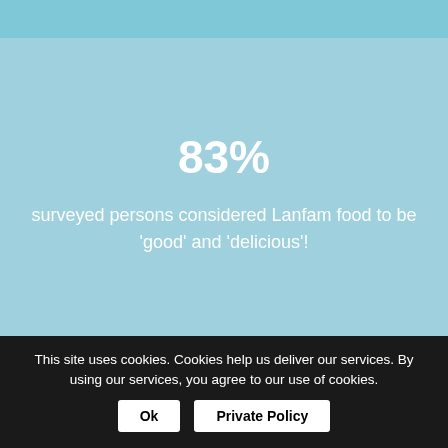83%
surveyed persons considered Lanfam food to be 'good' and 'delicious'!
8 minutes
time to pick up and heat up 120 meals from a single
This site uses cookies. Cookies help us deliver our services. By using our services, you agree to our use of cookies.
Ok
Private Policy